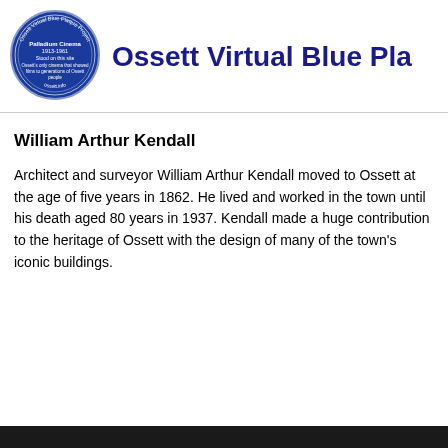[Figure (logo): Ossett Virtual Blue Plaque Project circular blue badge with white text and decorative border]
Ossett Virtual Blue Pla
William Arthur Kendall
Architect and surveyor William Arthur Kendall moved to Ossett at the age of five years in 1862. He lived and worked in the town until his death aged 80 years in 1937. Kendall made a huge contribution to the heritage of Ossett with the design of many of the town’s iconic buildings.